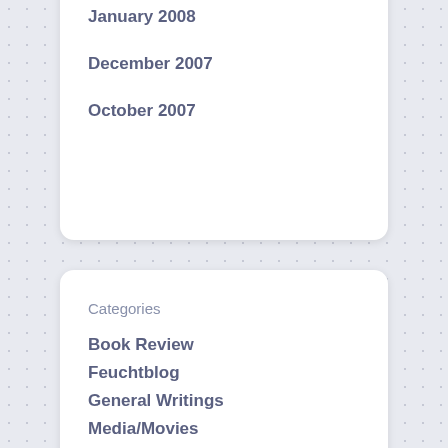February 2008
January 2008
December 2007
October 2007
Categories
Book Review
Feuchtblog
General Writings
Media/Movies
Uncategorized
Navigation